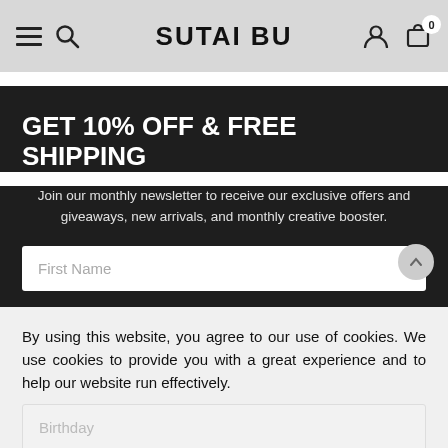SUTAI BU — navigation bar with hamburger menu, search, logo, user icon, cart (0)
GET 10% OFF & FREE SHIPPING
Join our monthly newsletter to receive our exclusive offers and giveaways, new arrivals, and monthly creative booster.
First Name
By using this website, you agree to our use of cookies. We use cookies to provide you with a great experience and to help our website run effectively.
OK
Birthday
JOIN NOW
UNAVAILABLE